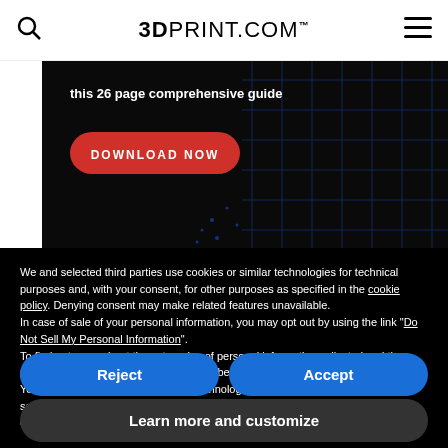3DPrint.com
[Figure (screenshot): Dark banner with text 'this 26 page comprehensive guide' and a red 'DOWNLOAD NOW' button on black background with blue grid pattern]
We and selected third parties use cookies or similar technologies for technical purposes and, with your consent, for other purposes as specified in the cookie policy. Denying consent may make related features unavailable.
In case of sale of your personal information, you may opt out by using the link "Do Not Sell My Personal Information".
To find out more about the categories of personal information collected and the purposes for which such information will be used, please refer to our privacy policy. You can consent to the use of such technologies by using the "Accept" button, by scrolling this page, by interacting with any link or button outside of this notice or by continuing to browse otherwise.
Reject
Accept
Learn more and customize